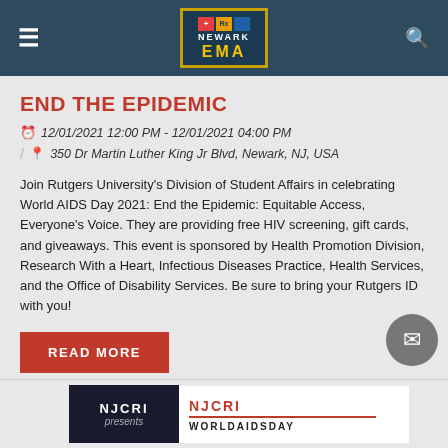Newark EMA — navigation header with hamburger menu, logo, and search icon
END THE EPIDEMIC
12/01/2021 12:00 PM - 12/01/2021 04:00 PM
350 Dr Martin Luther King Jr Blvd, Newark, NJ, USA
Join Rutgers University's Division of Student Affairs in celebrating World AIDS Day 2021: End the Epidemic: Equitable Access, Everyone's Voice. They are providing free HIV screening, gift cards, and giveaways. This event is sponsored by Health Promotion Division, Research With a Heart, Infectious Diseases Practice, Health Services, and the Office of Disability Services. Be sure to bring your Rutgers ID with you!
READ MORE
[Figure (logo): NJCRI logo / World AIDS Day promotional image strip at the bottom of the page]